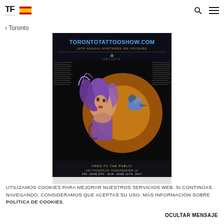TF alpha [Spanish flag] [search icon] [menu icon]
< Toronto
[Figure (illustration): Toronto Tattoo Show event poster featuring a woman with purple hair and a bird, text reads TORONTOTATTOOSHOW.COM 19th Annual Northern Ink Xposure]
UTILIZAMOS COOKIES PARA MEJORAR NUESTROS SERVICIOS WEB. SI CONTINÚAS NAVEGANDO, CONSIDERAMOS QUE ACEPTAS SU USO. MÁS INFORMACIÓN SOBRE POLÍTICA DE COOKIES.
OCULTAR MENSAJE